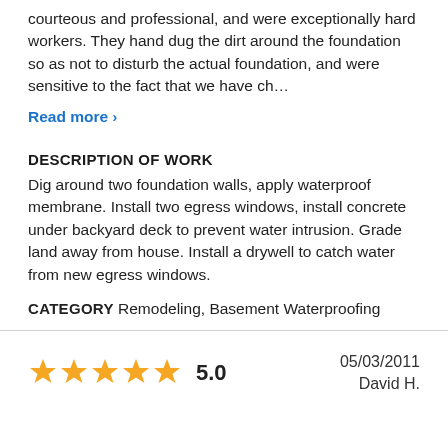courteous and professional, and were exceptionally hard workers. They hand dug the dirt around the foundation so as not to disturb the actual foundation, and were sensitive to the fact that we have ch…
Read more ›
DESCRIPTION OF WORK
Dig around two foundation walls, apply waterproof membrane. Install two egress windows, install concrete under backyard deck to prevent water intrusion. Grade land away from house. Install a drywell to catch water from new egress windows.
CATEGORY  Remodeling, Basement Waterproofing
★★★★★ 5.0   05/03/2011  David H.